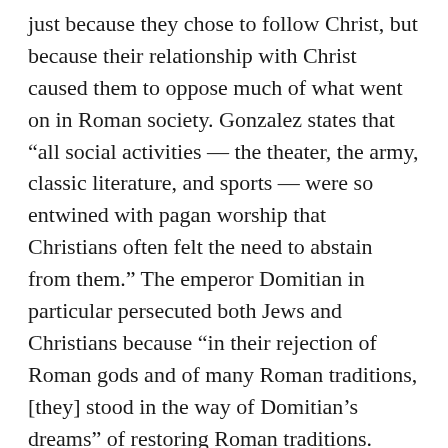just because they chose to follow Christ, but because their relationship with Christ caused them to oppose much of what went on in Roman society. Gonzalez states that “all social activities — the theater, the army, classic literature, and sports — were so entwined with pagan worship that Christians often felt the need to abstain from them.” The emperor Domitian in particular persecuted both Jews and Christians because “in their rejection of Roman gods and of many Roman traditions, [they] stood in the way of Domitian’s dreams” of restoring Roman traditions.